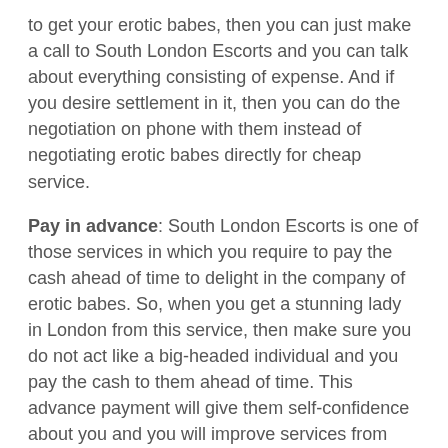to get your erotic babes, then you can just make a call to South London Escorts and you can talk about everything consisting of expense. And if you desire settlement in it, then you can do the negotiation on phone with them instead of negotiating erotic babes directly for cheap service.
Pay in advance: South London Escorts is one of those services in which you require to pay the cash ahead of time to delight in the company of erotic babes. So, when you get a stunning lady in London from this service, then make sure you do not act like a big-headed individual and you pay the cash to them ahead of time. This advance payment will give them self-confidence about you and you will improve services from them.
Also, it is strongly advised that you do not ask South London Escorts to do something beyond their work domain. If you will do it, then they will have to reject your demand and you will not like rejection from erotic babes in any way.